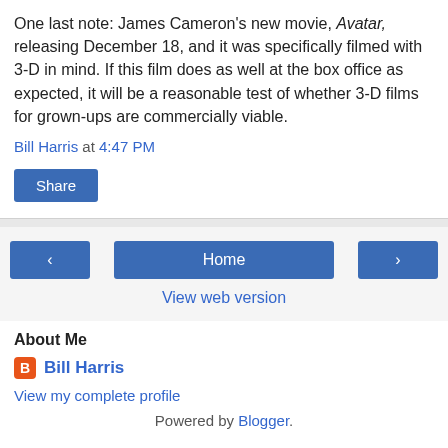One last note: James Cameron's new movie, Avatar, releasing December 18, and it was specifically filmed with 3-D in mind. If this film does as well at the box office as expected, it will be a reasonable test of whether 3-D films for grown-ups are commercially viable.
Bill Harris at 4:47 PM
Share
‹   Home   ›
View web version
About Me
Bill Harris
View my complete profile
Powered by Blogger.